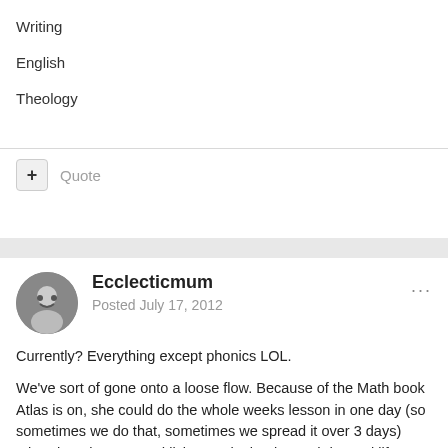Writing
English
Theology
+ Quote
Ecclecticmum
Posted July 17, 2012
Currently? Everything except phonics LOL.
We've sort of gone onto a loose flow. Because of the Math book Atlas is on, she could do the whole weeks lesson in one day (so sometimes we do that, sometimes we spread it over 3 days) other than that we read living maths books, and do "real life maths" (grocery store maths, fruit fractions, telling the time etc) So we "probably" do math 5 days a week,